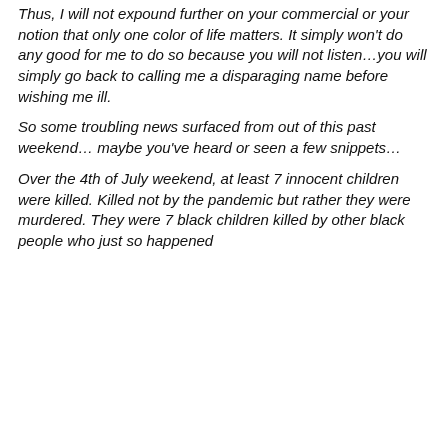Thus, I will not expound further on your commercial or your notion that only one color of life matters. It simply won't do any good for me to do so because you will not listen…you will simply go back to calling me a disparaging name before wishing me ill.
So some troubling news surfaced from out of this past weekend… maybe you've heard or seen a few snippets…
Over the 4th of July weekend, at least 7 innocent children were killed. Killed not by the pandemic but rather they were murdered. They were 7 black children killed by other black people who just so happened